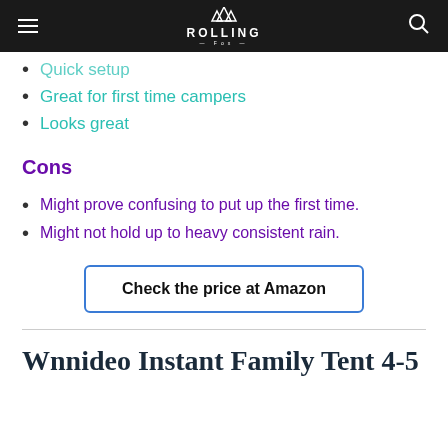ROLLING FOX
Quick setup
Great for first time campers
Looks great
Cons
Might prove confusing to put up the first time.
Might not hold up to heavy consistent rain.
Check the price at Amazon
Wnnideo Instant Family Tent 4-5